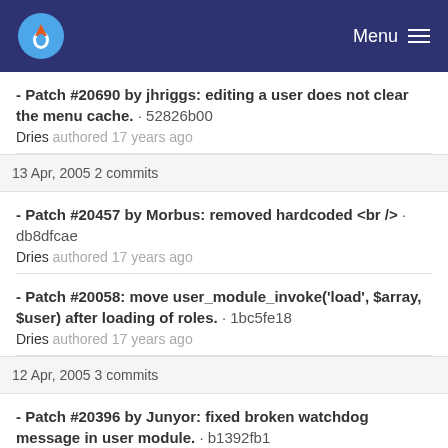Menu
- Patch #20690 by jhriggs: editing a user does not clear the menu cache. · 52826b00
Dries authored 17 years ago
13 Apr, 2005 2 commits
- Patch #20457 by Morbus: removed hardcoded <br /> · db8dfcae
Dries authored 17 years ago
- Patch #20058: move user_module_invoke('load', $array, $user) after loading of roles. · 1bc5fe18
Dries authored 17 years ago
12 Apr, 2005 3 commits
- Patch #20396 by Junyor: fixed broken watchdog message in user module. · b1392fb1
Dries authored 17 years ago